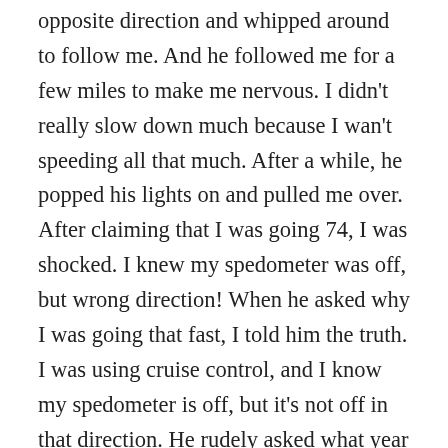opposite direction and whipped around to follow me. And he followed me for a few miles to make me nervous. I didn't really slow down much because I wan't speeding all that much. After a while, he popped his lights on and pulled me over. After claiming that I was going 74, I was shocked. I knew my spedometer was off, but wrong direction! When he asked why I was going that fast, I told him the truth. I was using cruise control, and I know my spedometer is off, but it's not off in that direction. He rudely asked what year my car was and basically told me that I'm a liar and my lies won't work. I've never had a ticket, or even written warning before, and he gave me a doozy. On the ticket,